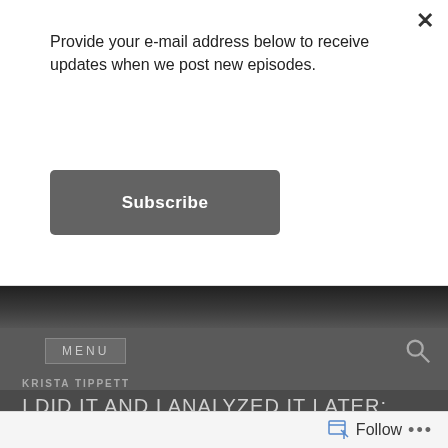Provide your e-mail address below to receive updates when we post new episodes.
Subscribe
[Figure (screenshot): Dark photographic image strip showing a dimly lit scene]
MENU
KRISTA TIPPETT
I DID IT AND I ANALYZED IT LATER: GABRI CHRISTA
Follow •••